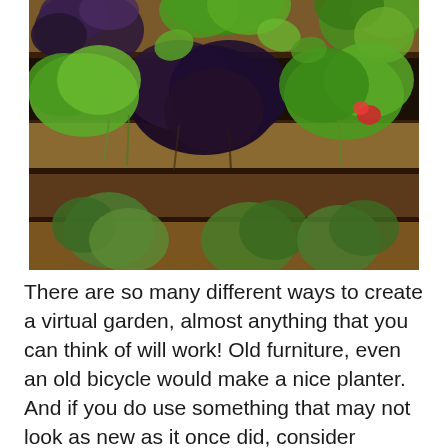[Figure (photo): Close-up photograph of a vertical wooden pallet garden with various plants growing from the slats, including purple/dark-leafed plants (possibly purple basil or red lettuce), bright green leafy vegetables (lettuce, herbs), and smaller green plants in the lower section. The plants are lush and abundant, growing through horizontal wooden boards of a pallet.]
There are so many different ways to create a virtual garden, almost anything that you can think of will work! Old furniture, even an old bicycle would make a nice planter. And if you do use something that may not look as new as it once did, consider brightening it with Rust-Oleum ReColor by Wipe New. It restores the original color and shine